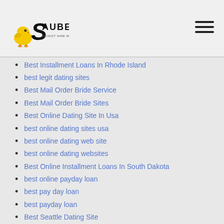Sauber logo and navigation
Best Installment Loans In Rhode Island
best legit dating sites
Best Mail Order Bride Service
Best Mail Order Bride Sites
Best Online Dating Site In Usa
best online dating sites usa
best online dating web site
best online dating websites
Best Online Installment Loans In South Dakota
best online payday loan
best pay day loan
best payday loan
Best Seattle Dating Site
Bicupid Login
Big Cock Cams Chat
biggest dating sites
Bitcoin News
Black Sex Sites